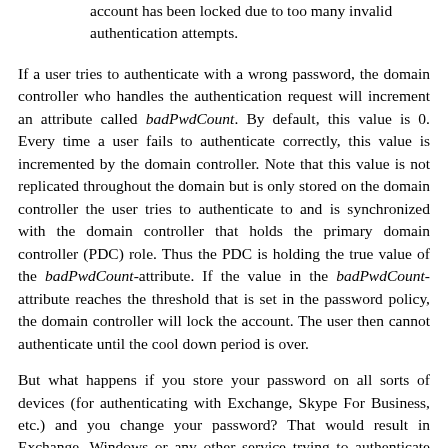account has been locked due to too many invalid authentication attempts.
If a user tries to authenticate with a wrong password, the domain controller who handles the authentication request will increment an attribute called badPwdCount. By default, this value is 0. Every time a user fails to authenticate correctly, this value is incremented by the domain controller. Note that this value is not replicated throughout the domain but is only stored on the domain controller the user tries to authenticate to and is synchronized with the domain controller that holds the primary domain controller (PDC) role. Thus the PDC is holding the true value of the badPwdCount-attribute. If the value in the badPwdCount-attribute reaches the threshold that is set in the password policy, the domain controller will lock the account. The user then cannot authenticate until the cool down period is over.
But what happens if you store your password on all sorts of devices (for authenticating with Exchange, Skype For Business, etc.) and you change your password? That would result in Exchange, Windows or any other service trying to authenticate with an invalid password. If everything works